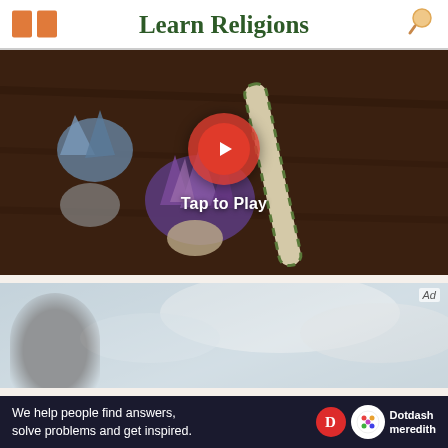Learn Religions
[Figure (screenshot): Video thumbnail showing crystals and sage smudge stick on dark wooden surface, with red play button overlay and 'Tap to Play' text]
[Figure (photo): Partial image of person from behind with snowy/cloudy background, with Ad badge]
We help people find answers, solve problems and get inspired.